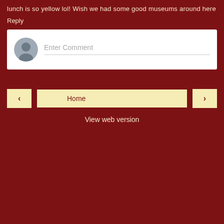lunch is so yellow lol! Wish we had some good museums around here
Reply
[Figure (screenshot): Comment input box with a user avatar icon on the left and placeholder text 'Enter Comment' with a bottom border line]
‹
Home
›
View web version